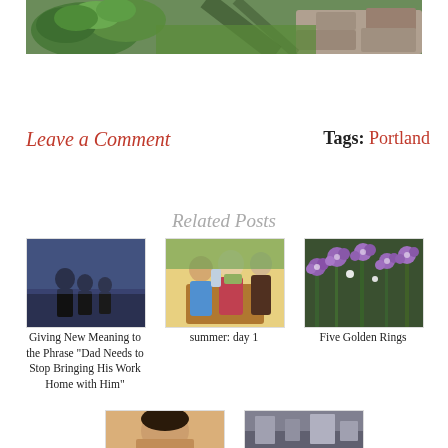[Figure (photo): Outdoor garden scene with green leafy plants and grass, shadows on stone path]
Leave a Comment
Tags: Portland
Related Posts
[Figure (photo): Two children silhouettes standing at dusk/night]
Giving New Meaning to the Phrase "Dad Needs to Stop Bringing His Work Home with Him"
[Figure (photo): Children and adult sitting at a restaurant table]
summer: day 1
[Figure (photo): Purple wildflowers close-up]
Five Golden Rings
[Figure (photo): Woman portrait, partially visible at bottom]
[Figure (photo): Indoor scene, partially visible at bottom]